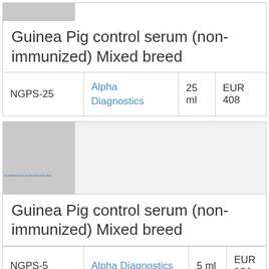[Figure (photo): Gray placeholder image strip for Guinea Pig control serum product (NGPS-25)]
Guinea Pig control serum (non-immunized) Mixed breed
| Code | Supplier | Volume | Price |
| --- | --- | --- | --- |
| NGPS-25 | Alpha Diagnostics | 25 ml | EUR 408 |
[Figure (photo): Gray placeholder image for Guinea Pig control serum product (NGPS-5) with faint watermark text]
Guinea Pig control serum (non-immunized) Mixed breed
| Code | Supplier | Volume | Price |
| --- | --- | --- | --- |
| NGPS-5 | Alpha Diagnostics | 5 ml | EUR 164 |